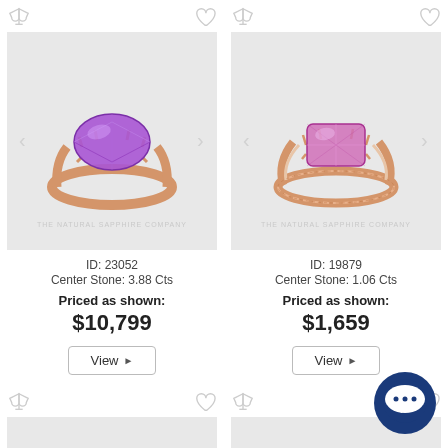[Figure (photo): Rose gold ring with large oval purple amethyst center stone, ID 23052]
ID: 23052
Center Stone: 3.88 Cts
Priced as shown:
$10,799
[Figure (photo): Rose gold ring with pink/purple sapphire center stone and decorative band, ID 19879]
ID: 19879
Center Stone: 1.06 Cts
Priced as shown:
$1,659
[Figure (photo): Partial view of bottom-left product card]
[Figure (photo): Partial view of bottom-right product card]